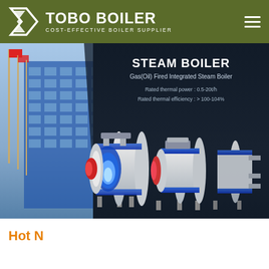TOBO BOILER — COST-EFFECTIVE BOILER SUPPLIER
[Figure (screenshot): Hero banner showing a building facade on the left and three gas/oil fired integrated steam boilers on a dark background on the right, with text overlay: STEAM BOILER, Gas(Oil) Fired Integrated Steam Boiler, Rated thermal power: 0.5-20t/h, Rated thermal efficiency: > 100-104%]
[Figure (logo): WhatsApp button — green rounded rectangle with WhatsApp icon and label]
Boiler Course In Durban
Hot N...